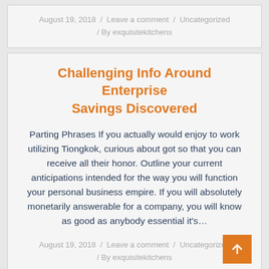August 19, 2018 / Leave a comment / Uncategorized / By exquisitekitchens
Challenging Info Around Enterprise Savings Discovered
Parting Phrases If you actually would enjoy to work utilizing Tiongkok, curious about got so that you can receive all their honor. Outline your current anticipations intended for the way you will function your personal business empire. If you will absolutely monetarily answerable for a company, you will know as good as anybody essential it's...
August 19, 2018 / Leave a comment / Uncategorized / By exquisitekitchens